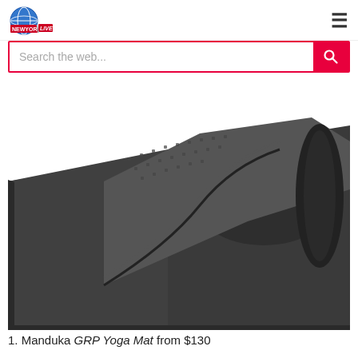NewYork 24 LIVE
Search the web...
[Figure (photo): A rolled dark charcoal/black Manduka GRP yoga mat, partially unrolled, showing textured grip surface on the underside and smooth top surface, on a white background.]
1. Manduka GRP Yoga Mat from $130